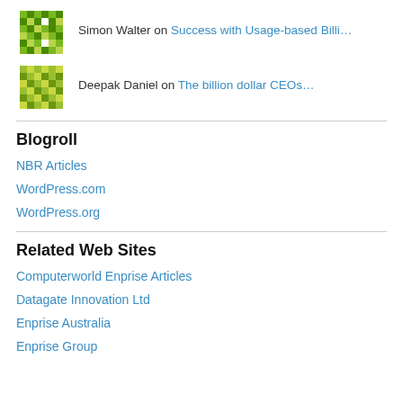Simon Walter on Success with Usage-based Billi…
Deepak Daniel on The billion dollar CEOs…
Blogroll
NBR Articles
WordPress.com
WordPress.org
Related Web Sites
Computerworld Enprise Articles
Datagate Innovation Ltd
Enprise Australia
Enprise Group